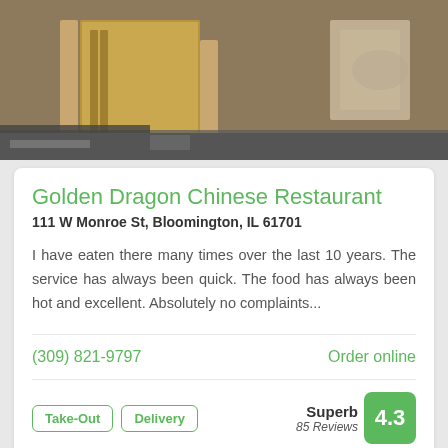[Figure (photo): Interior photo of Golden Dragon Chinese Restaurant showing wooden dividers, carpet flooring, and dining area]
Golden Dragon Chinese Restaurant
111 W Monroe St, Bloomington, IL 61701
I have eaten there many times over the last 10 years. The service has always been quick. The food has always been hot and excellent. Absolutely no complaints...
(309) 821-9797
Order online
Take-Out
Delivery
Superb 85 Reviews 4.3
[Figure (photo): Partial view of another restaurant listing showing a red circular logo on a wooden background with CHINESE • $$ badge]